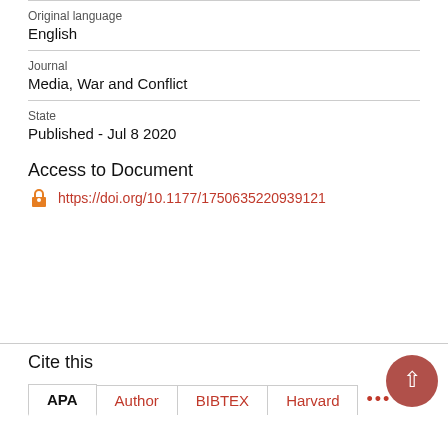Original language
English
Journal
Media, War and Conflict
State
Published - Jul 8 2020
Access to Document
https://doi.org/10.1177/1750635220939121
Cite this
APA   Author   BIBTEX   Harvard   ...